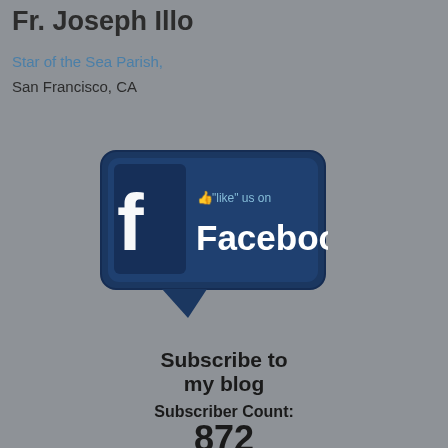Fr. Joseph Illo
Star of the Sea Parish,
San Francisco, CA
[Figure (illustration): Facebook 'like' us on Facebook speech bubble badge with Facebook logo 'f' icon on dark blue background and thumbs up icon]
Subscribe to my blog
Subscriber Count: 872
Subscribe